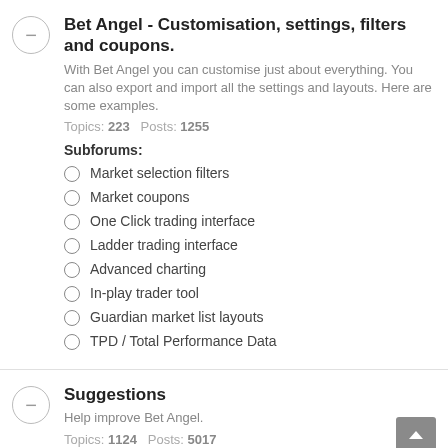Bet Angel - Customisation, settings, filters and coupons.
With Bet Angel you can customise just about everything. You can also export and import all the settings and layouts. Here are some examples.
Topics: 223   Posts: 1255
Subforums:
Market selection filters
Market coupons
One Click trading interface
Ladder trading interface
Advanced charting
In-play trader tool
Guardian market list layouts
TPD / Total Performance Data
Suggestions
Help improve Bet Angel.
Topics: 1124   Posts: 5017
Betfair trading videos - For current videos